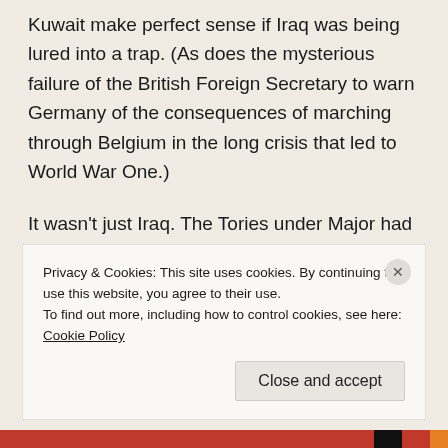Kuwait make perfect sense if Iraq was being lured into a trap. (As does the mysterious failure of the British Foreign Secretary to warn Germany of the consequences of marching through Belgium in the long crisis that led to World War One.)
It wasn't just Iraq. The Tories under Major had shown signs of returning to One-Nation Toryism. When Major quit, they had a series of weak, bald and unpopular leaders. But Blair chose to believe that Thatcherism
Privacy & Cookies: This site uses cookies. By continuing to use this website, you agree to their use.
To find out more, including how to control cookies, see here: Cookie Policy